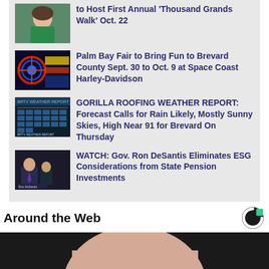to Host First Annual 'Thousand Grands Walk' Oct. 22
Palm Bay Fair to Bring Fun to Brevard County Sept. 30 to Oct. 9 at Space Coast Harley-Davidson
GORILLA ROOFING WEATHER REPORT: Forecast Calls for Rain Likely, Mostly Sunny Skies, High Near 91 for Brevard On Thursday
WATCH: Gov. Ron DeSantis Eliminates ESG Considerations from State Pension Investments
Around the Web
[Figure (photo): Close-up photo of a young Asian woman's face with a white bandage on her nose]